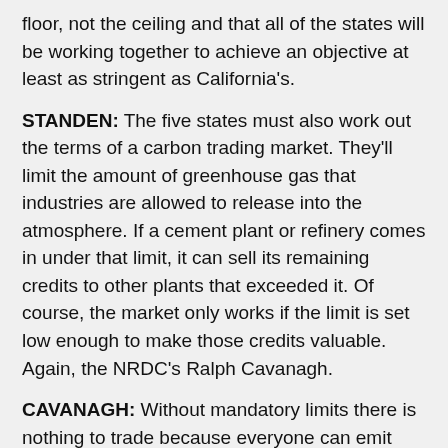floor, not the ceiling and that all of the states will be working together to achieve an objective at least as stringent as California's.
STANDEN: The five states must also work out the terms of a carbon trading market. They'll limit the amount of greenhouse gas that industries are allowed to release into the atmosphere. If a cement plant or refinery comes in under that limit, it can sell its remaining credits to other plants that exceeded it. Of course, the market only works if the limit is set low enough to make those credits valuable. Again, the NRDC's Ralph Cavanagh.
CAVANAGH: Without mandatory limits there is nothing to trade because everyone can emit these pollutants with impunity without paying any costs at all. And you can't develop a market because there's no value associated with reducing pollution.